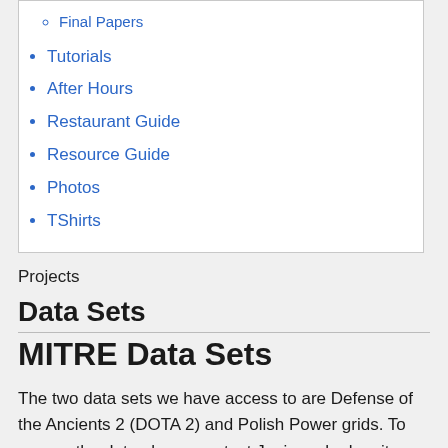Final Papers
Tutorials
After Hours
Restaurant Guide
Resource Guide
Photos
TShirts
Projects
Data Sets
MITRE Data Sets
The two data sets we have access to are Defense of the Ancients 2 (DOTA 2) and Polish Power grids. To access the data please contact Juniper she has it on a hard drive. If you have any specific questions about the data you can contact Matt Koehler at mkoehler@mitre.org.